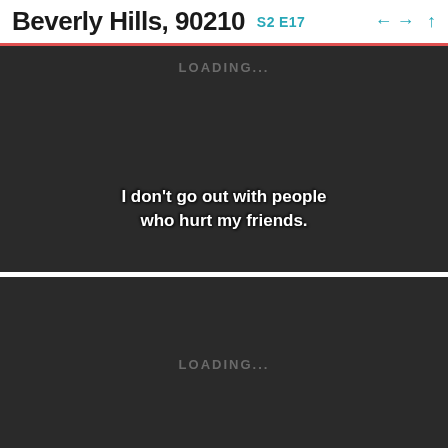Beverly Hills, 90210  S2  E17
[Figure (screenshot): Dark video panel showing a loading state with 'LOADING...' text at top center, and subtitle text reading 'I don't go out with people who hurt my friends.']
[Figure (screenshot): Dark video panel showing a loading state with 'LOADING...' text in the center]